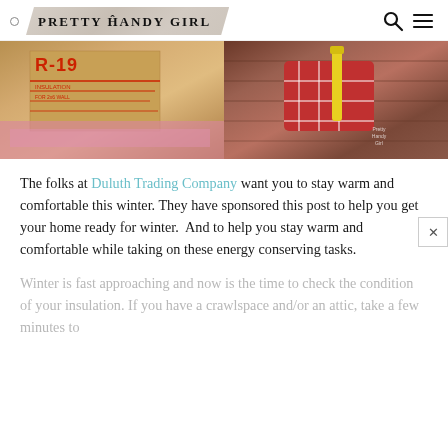PRETTY HANDY GIRL
[Figure (photo): Two side-by-side photos: left shows insulation packaging with R-value markings and red lines/text on brown paper; right shows a person in a red plaid flannel shirt measuring or working on a wood floor with a yellow tape measure. Watermark reads 'Pretty Handy Girl'.]
The folks at Duluth Trading Company want you to stay warm and comfortable this winter. They have sponsored this post to help you get your home ready for winter.  And to help you stay warm and comfortable while taking on these energy conserving tasks.
Winter is fast approaching and now is the time to check the condition of your insulation. If you have a crawlspace and/or an attic, take a few minutes to